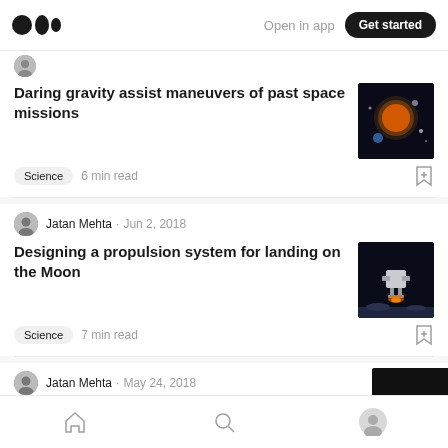Medium — Open in app — Get started
Daring gravity assist maneuvers of past space missions
Science · 6 min read
Jatan Mehta · Jun 2, 2018
Designing a propulsion system for landing on the Moon
Science · 7 min read
Jatan Mehta · May 24, 2018
Home · Search · Profile